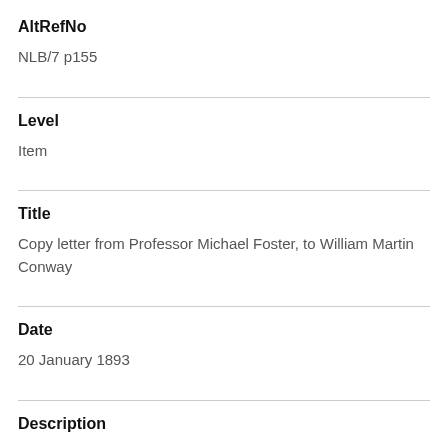AltRefNo
NLB/7 p155
Level
Item
Title
Copy letter from Professor Michael Foster, to William Martin Conway
Date
20 January 1893
Description
It is difficult to estimate how far Conway's £100 went, whether